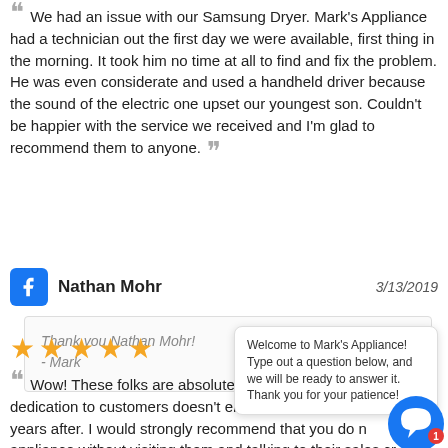We had an issue with our Samsung Dryer. Mark's Appliance had a technician out the first day we were available, first thing in the morning. It took him no time at all to find and fix the problem. He was even considerate and used a handheld driver because the sound of the electric one upset our youngest son. Couldn't be happier with the service we received and I'm glad to recommend them to anyone.
Nathan Mohr  3/13/2019
Thank you Nathan Mohr!
- Mark
[Figure (other): Five gold star rating]
Wow! These folks are absolutely terrific. Their kind dedication to customers doesn't end with a sale, but continues years after. I would strongly recommend that you do not buy any appliance without visiting them and talking to their sales crew. Their dedication to helping us satisfactorily resolve an issue has made us customers for life.
Welcome to Mark's Appliance! Type out a question below, and we will be ready to answer it. Thank you for your patience!